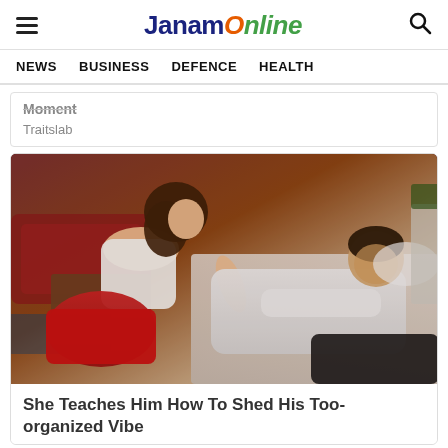JanamOnline (logo with hamburger menu and search icon)
NEWS   BUSINESS   DEFENCE   HEALTH
Moment
Traitslab
[Figure (photo): A woman in a white tank top and red skirt leaning over a man in a white shirt lying on a bed, from a movie or TV scene.]
She Teaches Him How To Shed His Too-organized Vibe